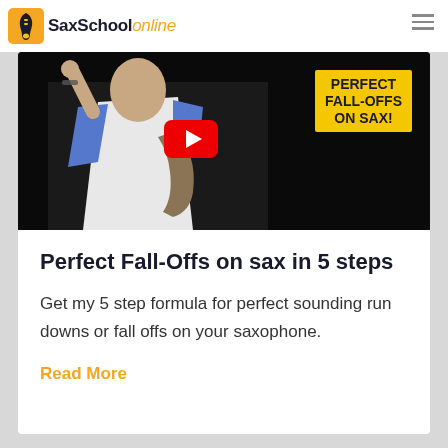SaxSchool online
[Figure (screenshot): YouTube video thumbnail showing a person holding a saxophone with text overlay 'PERFECT FALL-OFFS ON SAX!' on a yellow badge, and a red YouTube play button in the center.]
Perfect Fall-Offs on sax in 5 steps
Get my 5 step formula for perfect sounding run downs or fall offs on your saxophone.
Read More